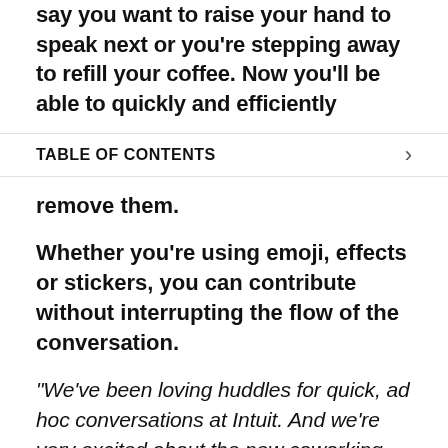say you want to raise your hand to speak next or you're stepping away to refill your coffee. Now you'll be able to quickly and efficiently
TABLE OF CONTENTS
remove them.
Whether you're using emoji, effects or stickers, you can contribute without interrupting the flow of the conversation.
“We’ve been loving huddles for quick, ad hoc conversations at Intuit. And we’re very excited about the new coworking capabilities, especially the ability to share screens simultaneously. I think this new experience in huddles will re-create the feeling of working alongside a teammate
[Figure (illustration): Purple rounded square icon with a waving hand emoji]